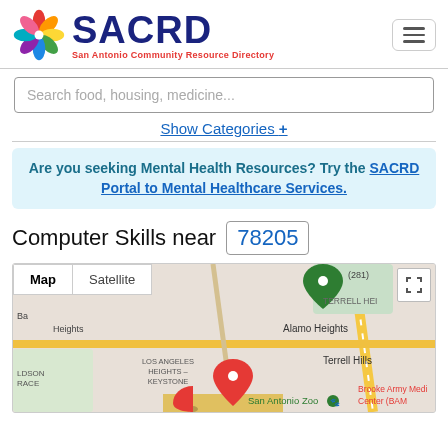[Figure (logo): SACRD - San Antonio Community Resource Directory logo with colorful pinwheel and dark blue text]
Search food, housing, medicine...
Show Categories +
Are you seeking Mental Health Resources? Try the SACRD Portal to Mental Healthcare Services.
Computer Skills near 78205
[Figure (map): Google Map showing San Antonio area near zip code 78205, with map/satellite toggle, showing locations including Alamo Heights, Terrell Hills, LOS ANGELES HEIGHTS - KEYSTONE, San Antonio Zoo, Brooke Army Medical Center (BAM), with red and green location pins]